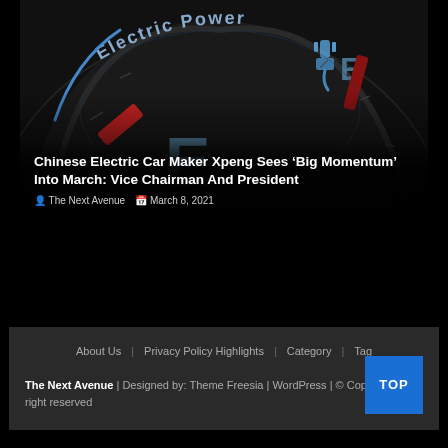[Figure (photo): Electric car power gauge/meter with 'Electric Power' text, red and blue indicators, showing E (empty) markers. Dark background with glowing blue and red details.]
Chinese Electric Car Maker Xpeng Sees ‘Big Momentum’ Into March: Vice Chairman And President
The Next Avenue   March 8, 2021
About Us | Privacy Policy Highlights | Category | Tag
The Next Avenue | Designed by: Theme Freesia | WordPress | © Copyright All right reserved